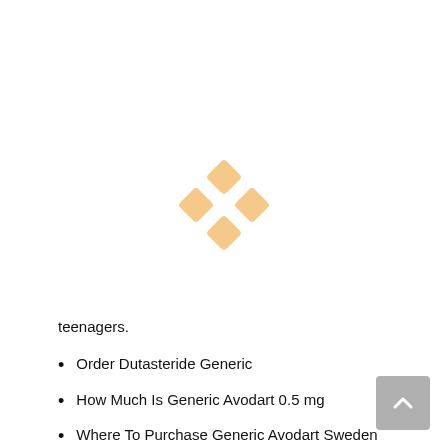[Figure (logo): A decorative logo made of four rounded squares arranged in a diamond/cross pattern, colored light peach/orange]
teenagers.
Order Dutasteride Generic
How Much Is Generic Avodart 0.5 mg
Where To Purchase Generic Avodart Sweden